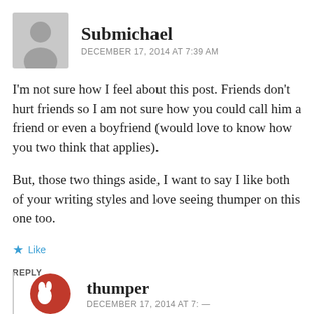Submichael
DECEMBER 17, 2014 AT 7:39 AM
I'm not sure how I feel about this post. Friends don't hurt friends so I am not sure how you could call him a friend or even a boyfriend (would love to know how you two think that applies).
But, those two things aside, I want to say I like both of your writing styles and love seeing thumper on this one too.
Like
REPLY
thumper